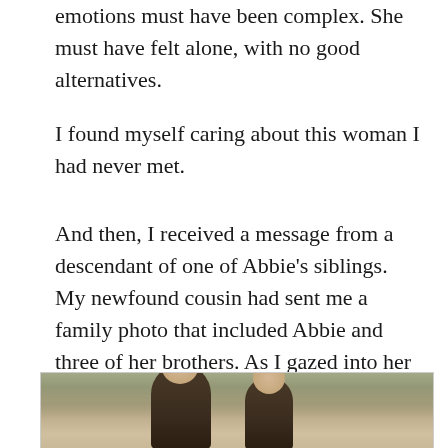emotions must have been complex. She must have felt alone, with no good alternatives.
I found myself caring about this woman I had never met.
And then, I received a message from a descendant of one of Abbie’s siblings. My newfound cousin had sent me a family photo that included Abbie and three of her brothers. As I gazed into her eyes for the first time, I saw my grandfather, and I realized he had found Abbie. And so had I.
[Figure (photo): Sepia-toned vintage family photograph showing at least two men in dark formal attire standing outdoors with trees or foliage in the background.]